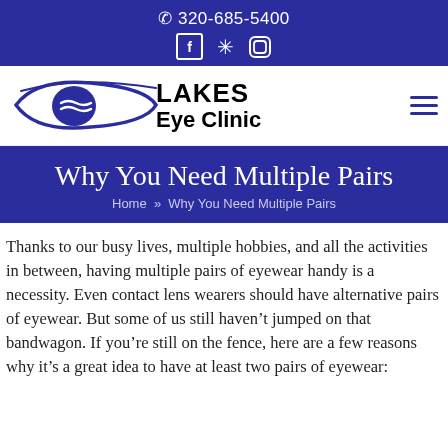☎ 320-685-5400
[Figure (logo): Lakes Eye Clinic logo with blue swoosh/eye graphic and bold text reading LAKES Eye Clinic]
Why You Need Multiple Pairs
Home » Why You Need Multiple Pairs
Thanks to our busy lives, multiple hobbies, and all the activities in between, having multiple pairs of eyewear handy is a necessity. Even contact lens wearers should have alternative pairs of eyewear. But some of us still haven't jumped on that bandwagon. If you're still on the fence, here are a few reasons why it's a great idea to have at least two pairs of eyewear: